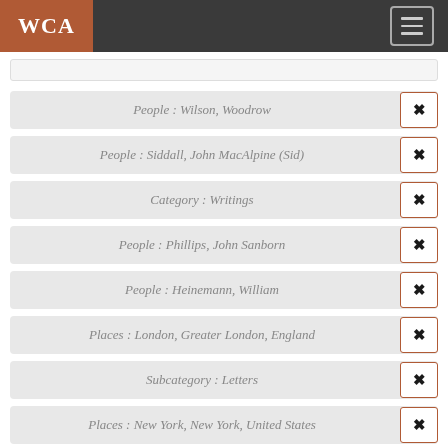WCA
People : Wilson, Woodrow
People : Siddall, John MacAlpine (Sid)
Category : Writings
People : Phillips, John Sanborn
People : Heinemann, William
Places : London, Greater London, England
Subcategory : Letters
Places : New York, New York, United States